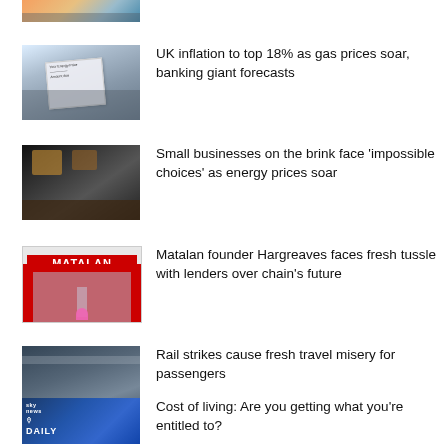[Figure (photo): Partial top-cropped news thumbnail]
[Figure (photo): Person holding an energy price document]
UK inflation to top 18% as gas prices soar, banking giant forecasts
[Figure (photo): Small business interior, dark kitchen]
Small businesses on the brink face 'impossible choices' as energy prices soar
[Figure (photo): Matalan store front with red sign]
Matalan founder Hargreaves faces fresh tussle with lenders over chain's future
[Figure (photo): Train station with passengers]
Rail strikes cause fresh travel misery for passengers
[Figure (photo): Sky News Daily podcast thumbnail]
Cost of living: Are you getting what you're entitled to?